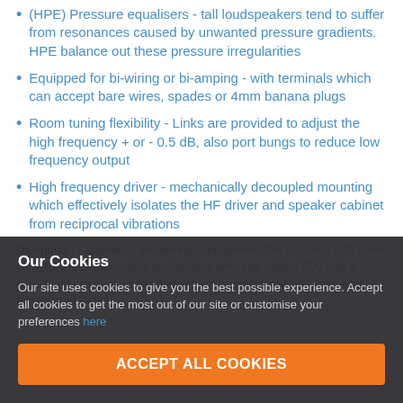(HPE) Pressure equalisers - tall loudspeakers tend to suffer from resonances caused by unwanted pressure gradients. HPE balance out these pressure irregularities
Equipped for bi-wiring or bi-amping - with terminals which can accept bare wires, spades or 4mm banana plugs
Room tuning flexibility - Links are provided to adjust the high frequency + or - 0.5 dB, also port bungs to reduce low frequency output
High frequency driver - mechanically decoupled mounting which effectively isolates the HF driver and speaker cabinet from reciprocal vibrations
Designed to appeal to discerning audiophiles, the Concept 500 is the culmination of Acoustic's audiophiles who can output 500 into a remarkably natural sound that is built around great precision...
Our Cookies
Our site uses cookies to give you the best possible experience. Accept all cookies to get the most out of our site or customise your preferences here
ACCEPT ALL COOKIES